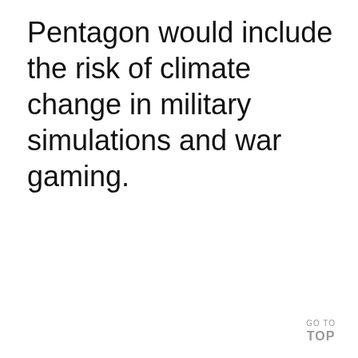Pentagon would include the risk of climate change in military simulations and war gaming.
GO TO TOP